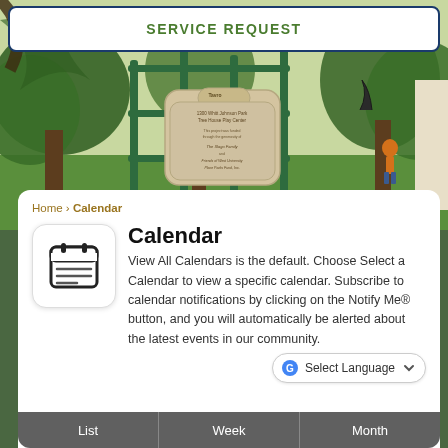SERVICE REQUEST
[Figure (photo): Park photo showing a playground with green metal bars/structures, a sign reading '1300 Whitt Johnson Park Tree House Play Center', trees, grass, and a child in an orange shirt in the background]
Home › Calendar
Calendar
View All Calendars is the default. Choose Select a Calendar to view a specific calendar. Subscribe to calendar notifications by clicking on the Notify Me® button, and you will automatically be alerted about the latest events in our community.
Select Language
List
Week
Month